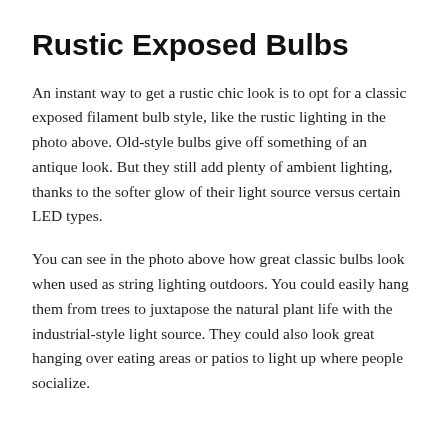Rustic Exposed Bulbs
An instant way to get a rustic chic look is to opt for a classic exposed filament bulb style, like the rustic lighting in the photo above. Old-style bulbs give off something of an antique look. But they still add plenty of ambient lighting, thanks to the softer glow of their light source versus certain LED types.
You can see in the photo above how great classic bulbs look when used as string lighting outdoors. You could easily hang them from trees to juxtapose the natural plant life with the industrial-style light source. They could also look great hanging over eating areas or patios to light up where people socialize.